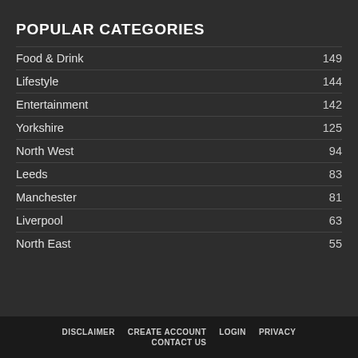POPULAR CATEGORIES
Food & Drink  149
Lifestyle  144
Entertainment  142
Yorkshire  125
North West  94
Leeds  83
Manchester  81
Liverpool  63
North East  55
DISCLAIMER  CREATE ACCOUNT  LOGIN  PRIVACY  CONTACT US